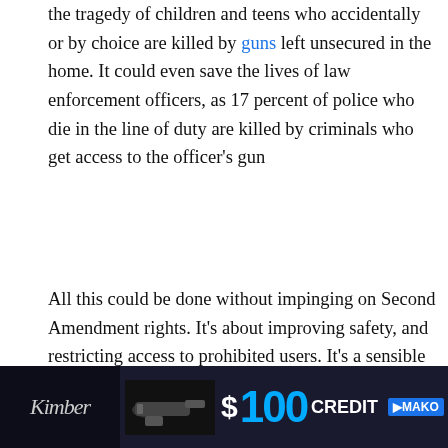the tragedy of children and teens who accidentally or by choice are killed by guns left unsecured in the home. It could even save the lives of law enforcement officers, as 17 percent of police who die in the line of duty are killed by criminals who get access to the officer's gun
All this could be done without impinging on Second Amendment rights. It's about improving safety, and restricting access to prohibited users. It's a sensible response, using technology that's readily available today.
The state's consumer protection statute (Chapter 93A) allows the attorney general to regulate firearms and further protect the citizens of the Commonwealth from undue harm. This has been used for everything
ensuring
[Figure (photo): Advertisement banner: dark background with a handgun image, '$100 CREDIT' text in blue and white, MAKO brand logo]